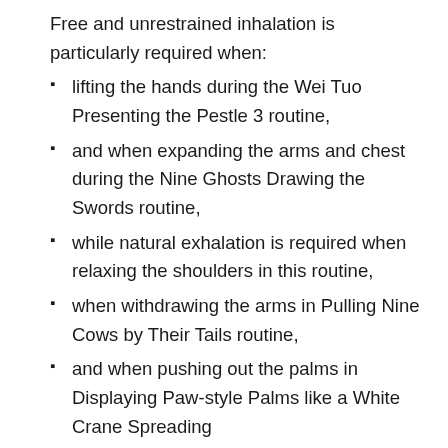Free and unrestrained inhalation is particularly required when:
lifting the hands during the Wei Tuo Presenting the Pestle 3 routine,
and when expanding the arms and chest during the Nine Ghosts Drawing the Swords routine,
while natural exhalation is required when relaxing the shoulders in this routine,
when withdrawing the arms in Pulling Nine Cows by Their Tails routine,
and when pushing out the palms in Displaying Paw-style Palms like a White Crane Spreading